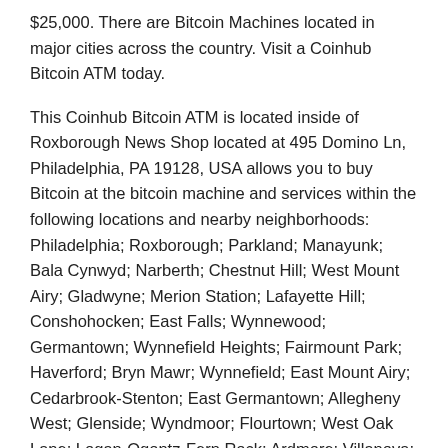$25,000. There are Bitcoin Machines located in major cities across the country. Visit a Coinhub Bitcoin ATM today.
This Coinhub Bitcoin ATM is located inside of Roxborough News Shop located at 495 Domino Ln, Philadelphia, PA 19128, USA allows you to buy Bitcoin at the bitcoin machine and services within the following locations and nearby neighborhoods: Philadelphia; Roxborough; Parkland; Manayunk; Bala Cynwyd; Narberth; Chestnut Hill; West Mount Airy; Gladwyne; Merion Station; Lafayette Hill; Conshohocken; East Falls; Wynnewood; Germantown; Wynnefield Heights; Fairmount Park; Haverford; Bryn Mawr; Wynnefield; East Mount Airy; Cedarbrook-Stenton; East Germantown; Allegheny West; Glenside; Wyndmoor; Flourtown; West Oak Lane; Logan-Ogontz-Fern Rock; Ardmore; Villanova; Plymouth Meeting;